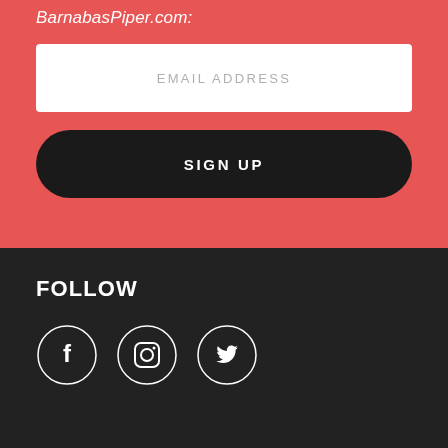BarnabasPiper.com:
[Figure (screenshot): Email address input field with placeholder text 'EMAIL ADDRESS' on white background]
[Figure (screenshot): Dark rounded button with text 'SIGN UP' in white uppercase letters]
FOLLOW
[Figure (infographic): Three circular social media icons: Facebook (f), Instagram (camera), Twitter (bird), white outlines on dark background]